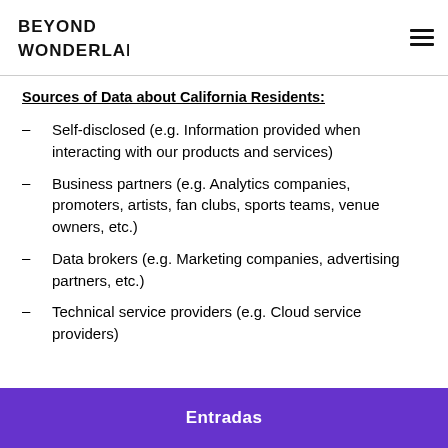Beyond Wonderland [logo] [hamburger menu]
Sources of Data about California Residents:
Self-disclosed (e.g. Information provided when interacting with our products and services)
Business partners (e.g. Analytics companies, promoters, artists, fan clubs, sports teams, venue owners, etc.)
Data brokers (e.g. Marketing companies, advertising partners, etc.)
Technical service providers (e.g. Cloud service providers)
Entradas